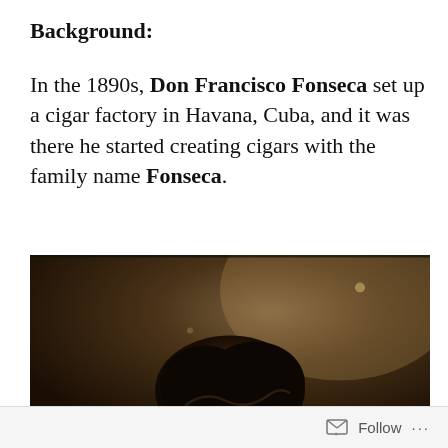Background:
In the 1890s, Don Francisco Fonseca set up a cigar factory in Havana, Cuba, and it was there he started creating cigars with the family name Fonseca.
[Figure (photo): Old sepia-toned historical photograph showing the back of a person's head with dark curly hair, against a dark brownish background.]
Follow ...